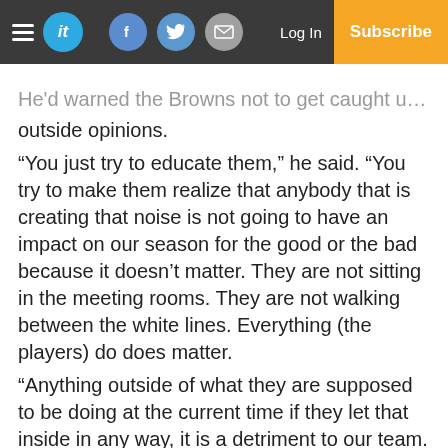it | Log In | Subscribe
He'd warned the Browns not to get caught up in outside opinions.
“You just try to educate them,” he said. “You try to make them realize that anybody that is creating that noise is not going to have an impact on our season for the good or the bad because it doesn’t matter. They are not sitting in the meeting rooms. They are not walking between the white lines. Everything (the players) do does matter.
“Anything outside of what they are supposed to be doing at the current time if they let that inside in any way, it is a detriment to our team. I think our guys will do a good job of understanding what is